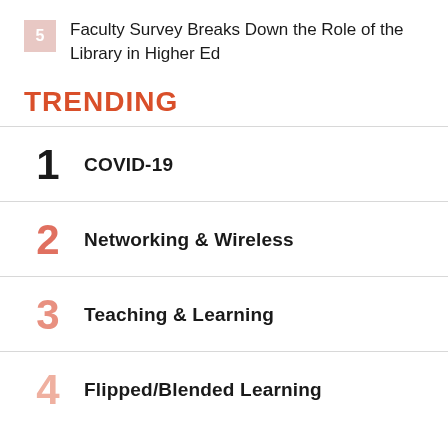5 Faculty Survey Breaks Down the Role of the Library in Higher Ed
TRENDING
1 COVID-19
2 Networking & Wireless
3 Teaching & Learning
4 Flipped/Blended Learning